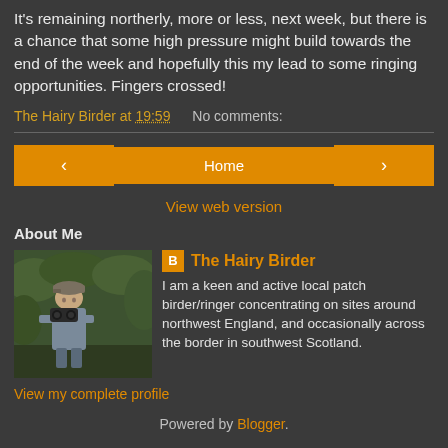It's remaining northerly, more or less, next week, but there is a chance that some high pressure might build towards the end of the week and hopefully this my lead to some ringing opportunities. Fingers crossed!
The Hairy Birder at 19:59   No comments:
Home
View web version
About Me
[Figure (photo): Profile photo of a person with binoculars and a cap, outdoors in a green setting]
The Hairy Birder
I am a keen and active local patch birder/ringer concentrating on sites around northwest England, and occasionally across the border in southwest Scotland.
View my complete profile
Powered by Blogger.